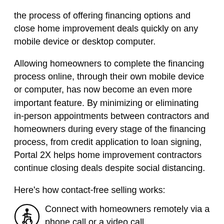the process of offering financing options and close home improvement deals quickly on any mobile device or desktop computer.
Allowing homeowners to complete the financing process online, through their own mobile device or computer, has now become an even more important feature. By minimizing or eliminating in-person appointments between contractors and homeowners during every stage of the financing process, from credit application to loan signing, Portal 2X helps home improvement contractors continue closing deals despite social distancing.
Here's how contact-free selling works:
Connect with homeowners remotely via a phone call or a video call.
2. Send the homeowner a link to a secure web